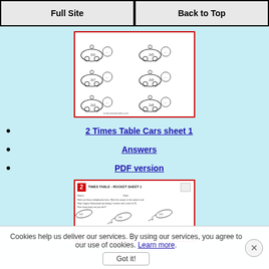Full Site | Back to Top
[Figure (illustration): Preview thumbnail of 2 Times Table Cars worksheet sheet 1 showing racing cars with multiplication problems 2x1, 2x5, 2x7, 2x9, 2x2, 2x8 and starburst answer boxes]
2 Times Table Cars sheet 1
Answers
PDF version
[Figure (illustration): Preview thumbnail of 2 Times Table Rocket Sheet 1 showing rockets with multiplication problems including 2x2, 2x5, 2x1, with instructions to find Captain Salamander by finding 2 rockets with a total of 20]
Cookies help us deliver our services. By using our services, you agree to our use of cookies. Learn more.
Got it!